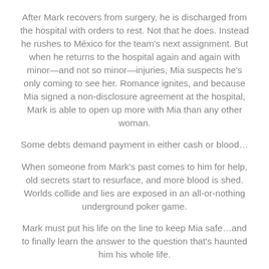After Mark recovers from surgery, he is discharged from the hospital with orders to rest. Not that he does. Instead he rushes to México for the team's next assignment. But when he returns to the hospital again and again with minor—and not so minor—injuries, Mia suspects he's only coming to see her. Romance ignites, and because Mia signed a non-disclosure agreement at the hospital, Mark is able to open up more with Mia than any other woman.
Some debts demand payment in either cash or blood…
When someone from Mark's past comes to him for help, old secrets start to resurface, and more blood is shed. Worlds collide and lies are exposed in an all-or-nothing underground poker game.
Mark must put his life on the line to keep Mia safe…and to finally learn the answer to the question that's haunted him his whole life.
What really happened that night twenty-five years ago?